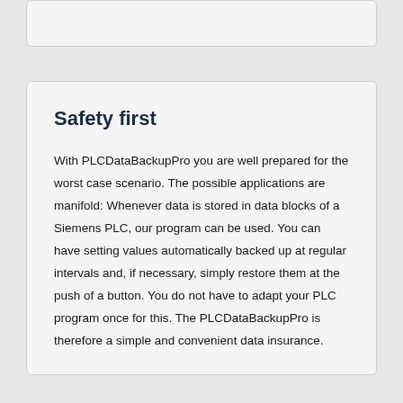Safety first
With PLCDataBackupPro you are well prepared for the worst case scenario. The possible applications are manifold: Whenever data is stored in data blocks of a Siemens PLC, our program can be used. You can have setting values automatically backed up at regular intervals and, if necessary, simply restore them at the push of a button. You do not have to adapt your PLC program once for this. The PLCDataBackupPro is therefore a simple and convenient data insurance.